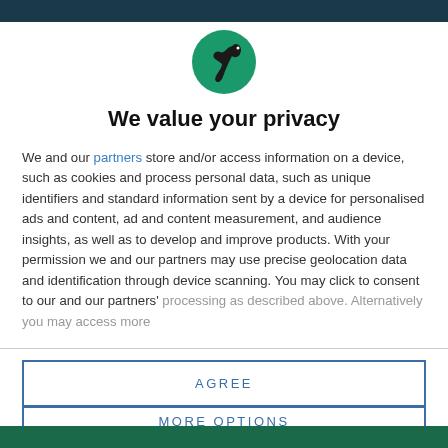[Figure (logo): Circular green logo with a black bird/crow silhouette facing right]
We value your privacy
We and our partners store and/or access information on a device, such as cookies and process personal data, such as unique identifiers and standard information sent by a device for personalised ads and content, ad and content measurement, and audience insights, as well as to develop and improve products. With your permission we and our partners may use precise geolocation data and identification through device scanning. You may click to consent to our and our partners' processing as described above. Alternatively you may access more
AGREE
MORE OPTIONS